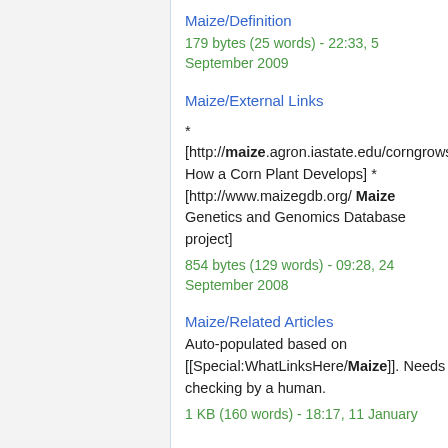Maize/Definition
179 bytes (25 words) - 22:33, 5 September 2009
Maize/External Links
*
[http://maize.agron.iastate.edu/corngrows.h How a Corn Plant Develops] * [http://www.maizegdb.org/ Maize Genetics and Genomics Database project]
854 bytes (129 words) - 09:28, 24 September 2008
Maize/Related Articles
Auto-populated based on [[Special:WhatLinksHere/Maize]]. Needs checking by a human.
1 KB (160 words) - 18:17, 11 January